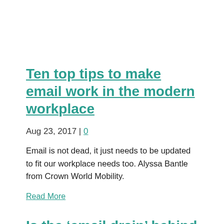Ten top tips to make email work in the modern workplace
Aug 23, 2017 | 0
Email is not dead, it just needs to be updated to fit our workplace needs too. Alyssa Bantle from Crown World Mobility.
Read More
Is the ‘email drain’ behind the UK’s sagging productivity?
Oct 28, 2015 | 0